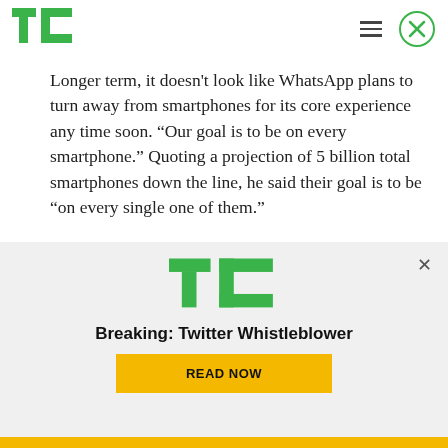TechCrunch header with TC logo, hamburger menu, and close button
Longer term, it doesn't look like WhatsApp plans to turn away from smartphones for its core experience any time soon. “Our goal is to be on every smartphone.” Quoting a projection of 5 billion total smartphones down the line, he said their goal is to be “on every single one of them.”
Photo: AFP/Getty Images
[Figure (screenshot): TechCrunch promotional overlay with TC logo, 'Breaking: Twitter Whistleblower' headline, and 'READ NOW' button in yellow]